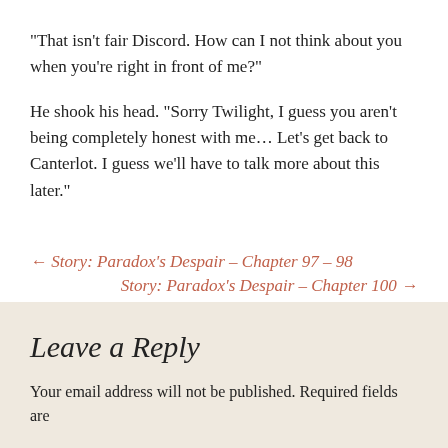“That isn’t fair Discord. How can I not think about you when you’re right in front of me?”
He shook his head. “Sorry Twilight, I guess you aren’t being completely honest with me… Let’s get back to Canterlot. I guess we’ll have to talk more about this later.”
← Story: Paradox’s Despair – Chapter 97 – 98
Story: Paradox’s Despair – Chapter 100 →
Leave a Reply
Your email address will not be published. Required fields are